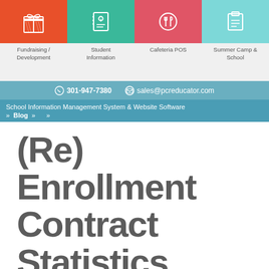[Figure (infographic): Four icon tiles in a row: Fundraising/Development (orange gift icon), Student Information (teal info icon), Cafeteria POS (red utensils icon), Summer Camp & School (cyan notebook icon)]
Fundraising / Development
Student Information
Cafeteria POS
Summer Camp & School
301-947-7380   sales@pcreducator.com
School Information Management System & Website Software  »  Blog  »    »
(Re) Enrollment Contract Statistics